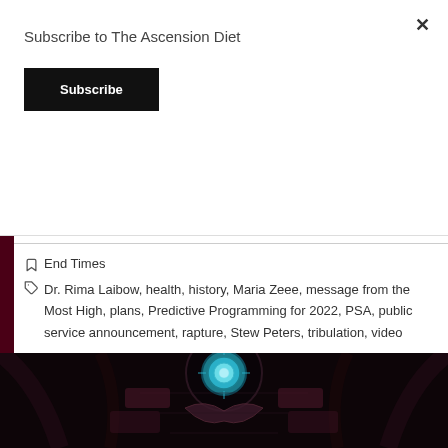Subscribe to The Ascension Diet
Subscribe
End Times
Dr. Rima Laibow, health, history, Maria Zeee, message from the Most High, plans, Predictive Programming for 2022, PSA, public service announcement, rapture, Stew Peters, tribulation, video
[Figure (photo): Bottom portion of a stained glass window with blue and teal decorative elements against a dark gothic church interior background]